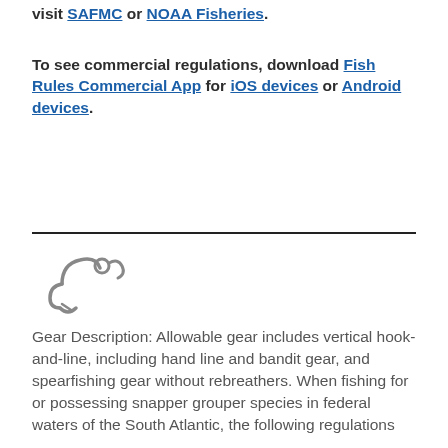visit SAFMC or NOAA Fisheries.
To see commercial regulations, download Fish Rules Commercial App for iOS devices or Android devices.
[Figure (illustration): Fishing hook and line icon in gray outline style]
Gear Description: Allowable gear includes vertical hook-and-line, including hand line and bandit gear, and spearfishing gear without rebreathers. When fishing for or possessing snapper grouper species in federal waters of the South Atlantic, the following regulations